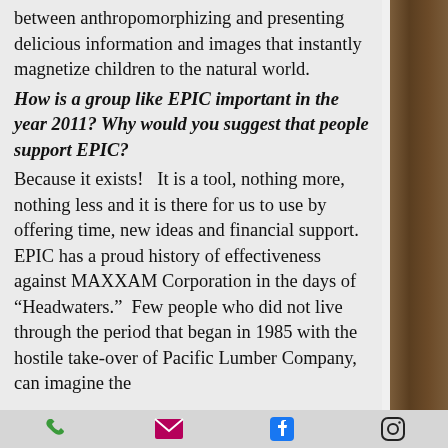between anthropomorphizing and presenting delicious information and images that instantly magnetize children to the natural world.
How is a group like EPIC important in the year 2011? Why would you suggest that people support EPIC?
Because it exists!   It is a tool, nothing more, nothing less and it is there for us to use by offering time, new ideas and financial support.  EPIC has a proud history of effectiveness against MAXXAM Corporation in the days of “Headwaters.”  Few people who did not live through the period that began in 1985 with the hostile take-over of Pacific Lumber Company, can imagine the
phone email facebook instagram